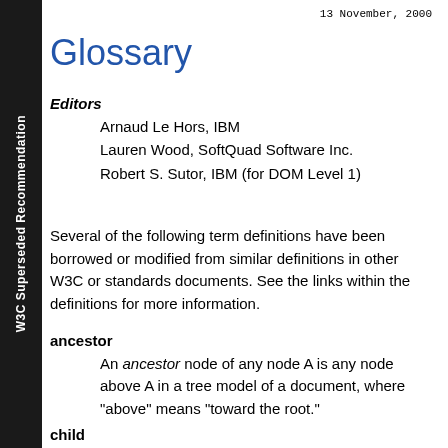13 November, 2000
Glossary
Editors
Arnaud Le Hors, IBM
Lauren Wood, SoftQuad Software Inc.
Robert S. Sutor, IBM (for DOM Level 1)
Several of the following term definitions have been borrowed or modified from similar definitions in other W3C or standards documents. See the links within the definitions for more information.
ancestor: An ancestor node of any node A is any node above A in a tree model of a document, where "above" means "toward the root."
child: A child is an immediate descendant node of a node.
descendant: A descendant node of any node A is any node below A in a tree model of a document